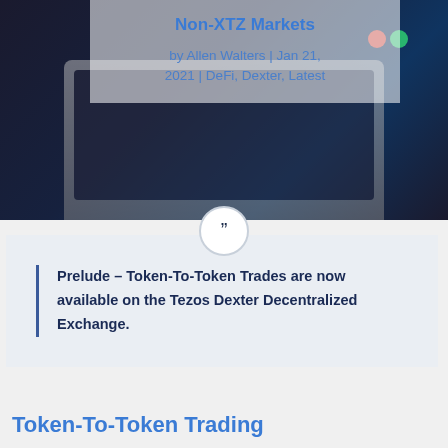[Figure (photo): Laptop computer on dark background with window control buttons (red, green) visible]
Non-XTZ Markets
by Allen Walters | Jan 21, 2021 | DeFi, Dexter, Latest
Prelude – Token-To-Token Trades are now available on the Tezos Dexter Decentralized Exchange.
Token-To-Token Trading